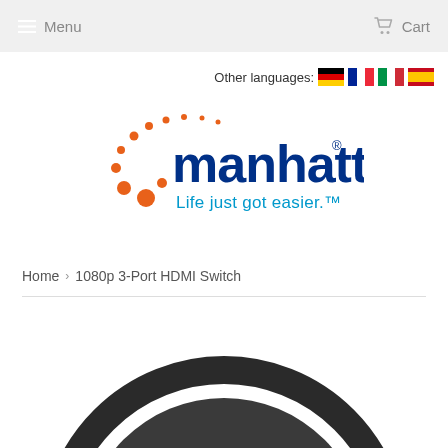Menu  Cart
Other languages: 🇩🇪 🇫🇷 🇮🇹 🇪🇸
[Figure (logo): Manhattan logo with orange dots and tagline 'Life just got easier.']
Home › 1080p 3-Port HDMI Switch
[Figure (photo): Partial top view of a dark circular product (HDMI switch) visible at the bottom of the page]